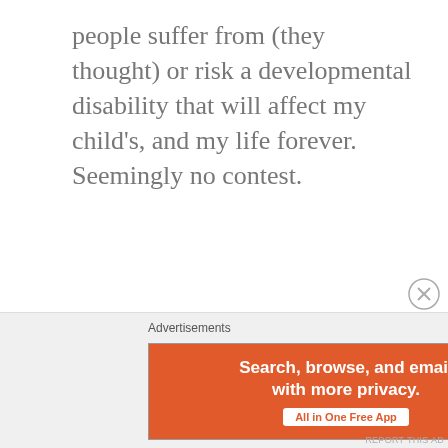people suffer from (they thought) or risk a developmental disability that will affect my child's, and my life forever. Seemingly no contest.
Advertisements
[Figure (screenshot): DuckDuckGo advertisement banner. Orange left panel with white bold text 'Search, browse, and email with more privacy.' and white pill button 'All in One Free App'. Dark right panel with orange circle duck logo and white text 'DuckDuckGo'.]